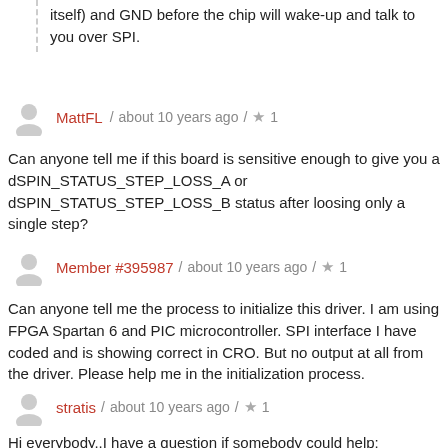itself) and GND before the chip will wake-up and talk to you over SPI.
MattFL / about 10 years ago / ★ 1
Can anyone tell me if this board is sensitive enough to give you a dSPIN_STATUS_STEP_LOSS_A or dSPIN_STATUS_STEP_LOSS_B status after loosing only a single step?
Member #395987 / about 10 years ago / ★ 1
Can anyone tell me the process to initialize this driver. I am using FPGA Spartan 6 and PIC microcontroller. SPI interface I have coded and is showing correct in CRO. But no output at all from the driver. Please help me in the initialization process.
stratis / about 10 years ago / ★ 1
Hi everybody..I have a question if somebody could help:

Can i interface this board to a 24v relay output of a plc? The relay output of the plc will close every 5 min for about 10 sec. At this time i want to drive a NEMA 17 Bipolar stepper motor.That simple.. As you can understand the problem is that my plc has relay output, not